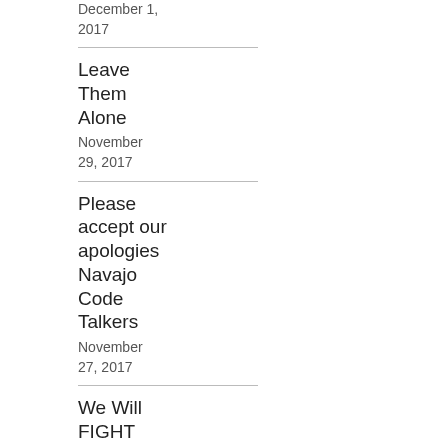Scam Bill
December 1, 2017
Leave Them Alone
November 29, 2017
Please accept our apologies Navajo Code Talkers
November 27, 2017
We Will FIGHT